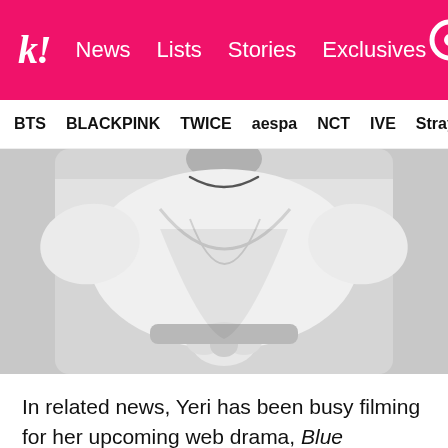k! News Lists Stories Exclusives
BTS BLACKPINK TWICE aespa NCT IVE Stray
[Figure (photo): Black and white photo of a person (Yeri) wearing a white t-shirt tied at the waist with a necklace, torso only visible]
In related news, Yeri has been busy filming for her upcoming web drama, Blue